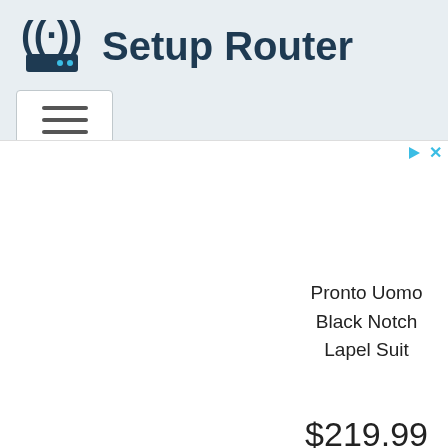Setup Router
[Figure (screenshot): Advertisement area showing a product listing: Pronto Uomo Black Notch Lapel Suit priced at $219.99, with ad control icons (play and close) in the top right corner]
Pronto Uomo Black Notch Lapel Suit
$219.99